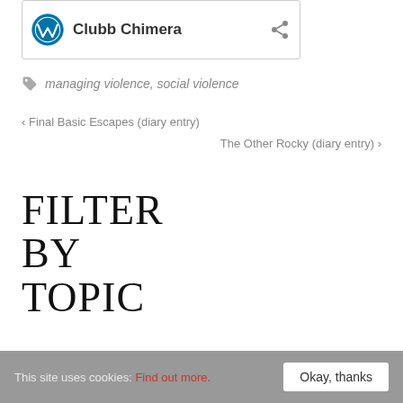[Figure (logo): WordPress logo with site name 'Clubb Chimera' and share icon inside a bordered card]
managing violence, social violence
< Final Basic Escapes (diary entry)
The Other Rocky (diary entry) >
FILTER BY TOPIC
All Posts
This site uses cookies: Find out more. Okay, thanks